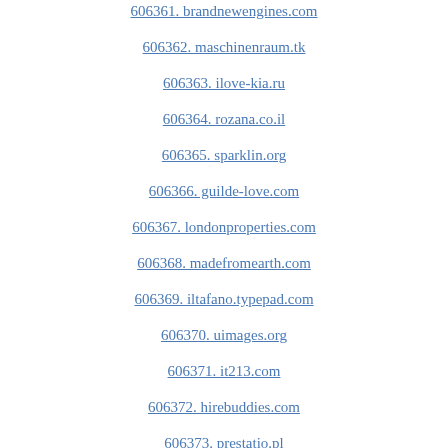606361. brandnewengines.com
606362. maschinenraum.tk
606363. ilove-kia.ru
606364. rozana.co.il
606365. sparklin.org
606366. guilde-love.com
606367. londonproperties.com
606368. madefromearth.com
606369. iltafano.typepad.com
606370. uimages.org
606371. it213.com
606372. hirebuddies.com
606373. prestatio.pl
606374. theworkfromnohomesystemreview.com
606375. katalogmarzen.pl